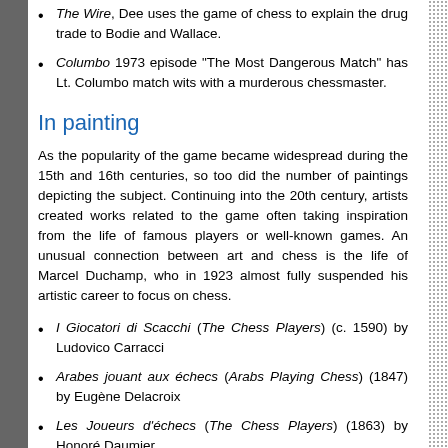The Wire, Dee uses the game of chess to explain the drug trade to Bodie and Wallace.
Columbo 1973 episode "The Most Dangerous Match" has Lt. Columbo match wits with a murderous chessmaster.
In painting
As the popularity of the game became widespread during the 15th and 16th centuries, so too did the number of paintings depicting the subject. Continuing into the 20th century, artists created works related to the game often taking inspiration from the life of famous players or well-known games. An unusual connection between art and chess is the life of Marcel Duchamp, who in 1923 almost fully suspended his artistic career to focus on chess.
I Giocatori di Scacchi (The Chess Players) (c. 1590) by Ludovico Carracci
Arabes jouant aux échecs (Arabs Playing Chess) (1847) by Eugène Delacroix
Les Joueurs d'échecs (The Chess Players) (1863) by Honoré Daumier